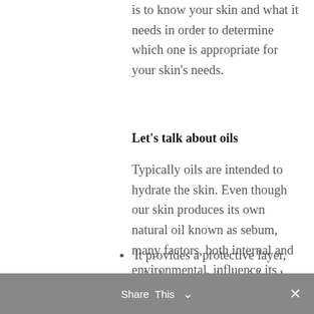is to know your skin and what it needs in order to determine which one is appropriate for your skin's needs.
Let's talk about oils
Typically oils are intended to hydrate the skin. Even though our skin produces its own natural oil known as sebum, many factors, both internal and environmental, influence its production, which can cause either too much or too little.
It provides a protective layer, which prevents bacterial and
Share This ∨  ✕